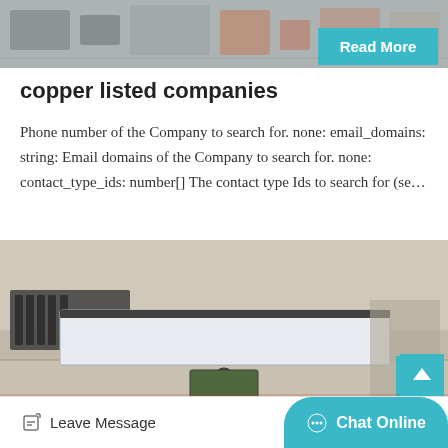[Figure (photo): Top portion of an industrial/factory setting showing machinery and equipment]
Read More
copper listed companies
Phone number of the Company to search for. none: email_domains: string: Email domains of the Company to search for. none: contact_type_ids: number[] The contact type Ids to search for (se…
[Figure (photo): Industrial machine/equipment in a factory warehouse, showing a large flat white surface on a green base with a handwheel, labeled 12049]
Leave Message   Chat Online